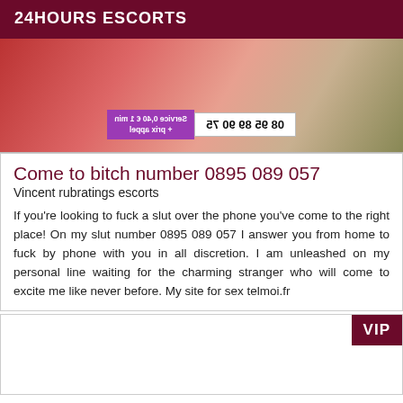24HOURS ESCORTS
[Figure (photo): Photo of a woman on a red carpet/rug, with a mirrored/flipped phone number overlay banner showing '08 95 89 90 75' and 'Service 0,40 € 1 min + prix appel' in purple and white banners]
Come to bitch number 0895 089 057
Vincent rubratings escorts
If you're looking to fuck a slut over the phone you've come to the right place! On my slut number 0895 089 057 I answer you from home to fuck by phone with you in all discretion. I am unleashed on my personal line waiting for the charming stranger who will come to excite me like never before. My site for sex telmoi.fr
[Figure (other): Second listing card with VIP badge in dark red at top right]